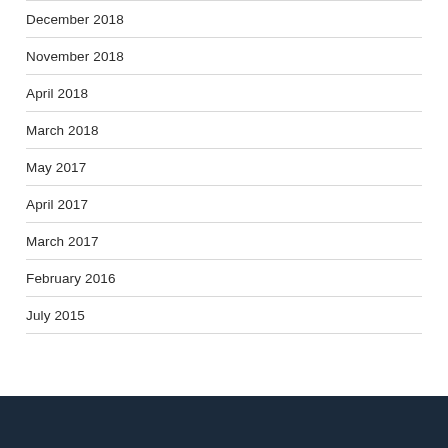December 2018
November 2018
April 2018
March 2018
May 2017
April 2017
March 2017
February 2016
July 2015